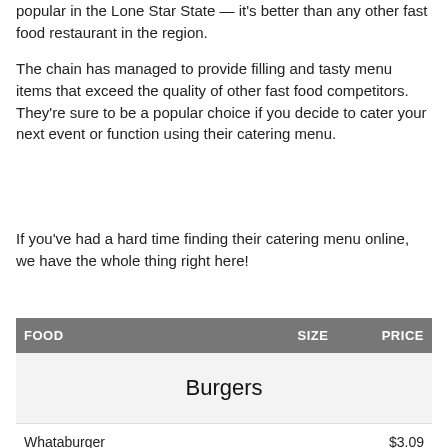popular in the Lone Star State — it's better than any other fast food restaurant in the region.
The chain has managed to provide filling and tasty menu items that exceed the quality of other fast food competitors. They're sure to be a popular choice if you decide to cater your next event or function using their catering menu.
If you've had a hard time finding their catering menu online, we have the whole thing right here!
| FOOD | SIZE | PRICE |
| --- | --- | --- |
| Burgers |  |  |
| Whataburger |  | $3.09 |